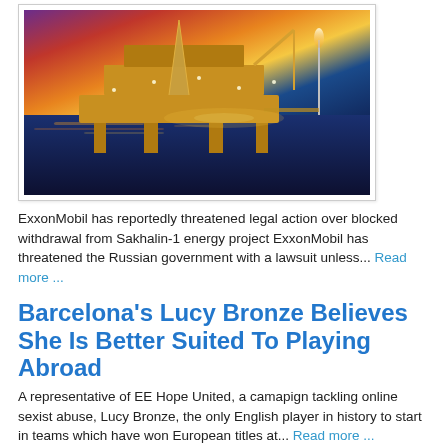[Figure (photo): Aerial photograph of an offshore oil rig platform at sunset with vivid orange, red, and purple sky reflecting on the ocean water]
ExxonMobil has reportedly threatened legal action over blocked withdrawal from Sakhalin-1 energy project ExxonMobil has threatened the Russian government with a lawsuit unless... Read more ...
Barcelona's Lucy Bronze Believes She Is Better Suited To Playing Abroad
A representative of EE Hope United, a camapign tackling online sexist abuse, Lucy Bronze, the only English player in history to start in teams which have won European titles at... Read more ...
Dolly Parton launches 'Doggy Parton'